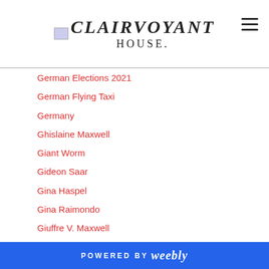CLAIRVOYANT
HOUSE
German Elections 2021
German Flying Taxi
Germany
Ghislaine Maxwell
Giant Worm
Gideon Saar
Gina Haspel
Gina Raimondo
Giuffre V. Maxwell
Giuliani
Giuliani's Associates
Glenn Dubin
Gobi Desert
God
POWERED BY weebly